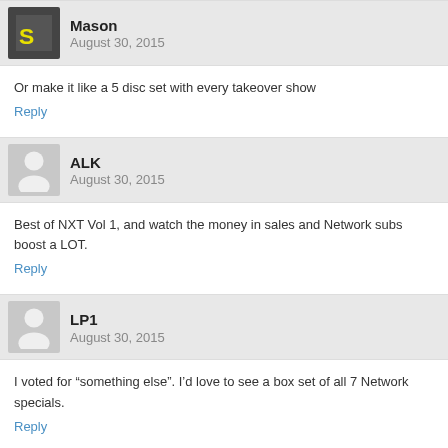Mason
August 30, 2015
Or make it like a 5 disc set with every takeover show
Reply
ALK
August 30, 2015
Best of NXT Vol 1, and watch the money in sales and Network subs boost a LOT.
Reply
LP1
August 30, 2015
I voted for “something else”. I’d love to see a box set of all 7 Network specials.
Reply